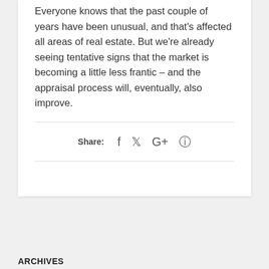Everyone knows that the past couple of years have been unusual, and that's affected all areas of real estate. But we're already seeing tentative signs that the market is becoming a little less frantic – and the appraisal process will, eventually, also improve.
Share: f t G+ ®
ARCHIVES